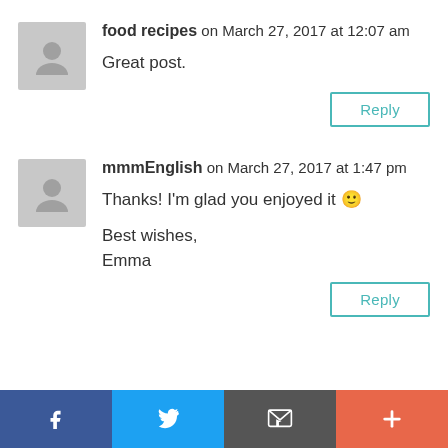food recipes on March 27, 2017 at 12:07 am
Great post.
Reply
mmmEnglish on March 27, 2017 at 1:47 pm
Thanks! I'm glad you enjoyed it 🙂

Best wishes,
Emma
Reply
[Figure (infographic): Social share bar with Facebook, Twitter, Email, and plus buttons]